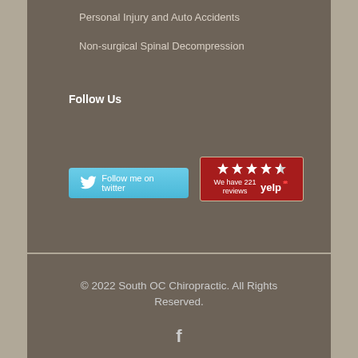Personal Injury and Auto Accidents
Non-surgical Spinal Decompression
Follow Us
[Figure (other): Twitter follow button: light blue button with bird icon and text 'Follow me on twitter']
[Figure (other): Yelp review badge: red background with 5 star rating icons and text 'We have 221 reviews' with Yelp logo]
© 2022 South OC Chiropractic. All Rights Reserved.
[Figure (other): Facebook icon (letter f)]